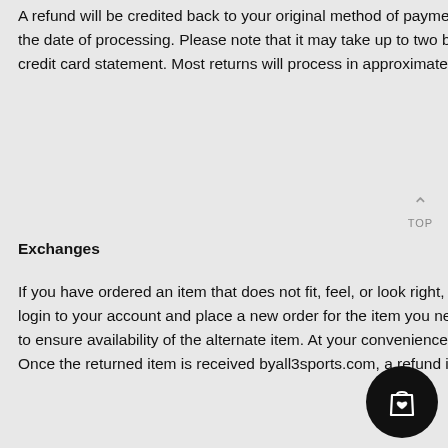A refund will be credited back to your original method of payment and will post approximately two or three days after the date of processing. Please note that it may take up to two billing cycles for the credit to appear on your monthly credit card statement. Most returns will process in approximately two weeks, depending on your method of return.
Exchanges
If you have ordered an item that does not fit, feel, or look right, follow these easy steps to exchange the item. Simply login to your account and place a new order for the item you need. It is best to place a new order as soon as possible to ensure availability of the alternate item. At your convenience, return the item you do not want for a full refund. Once the returned item is received byall3sports.com, a refund is applied and your exchange is complete.